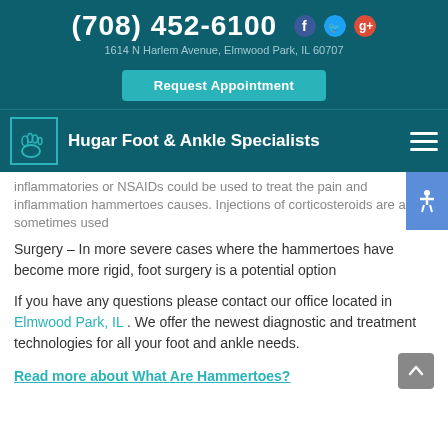(708) 452-6100  1614 N Harlem Avenue, Elmwood Park, IL 60707  Request Appointment
Hugar Foot & Ankle Specialists
inflammatories or NSAIDs could be used to treat the pain and inflammation hammertoes causes. Injections of corticosteroids are also sometimes used
Surgery – In more severe cases where the hammertoes have become more rigid, foot surgery is a potential option
If you have any questions please contact our office located in Elmwood Park, IL . We offer the newest diagnostic and treatment technologies for all your foot and ankle needs.
Read more about What Are Hammertoes?